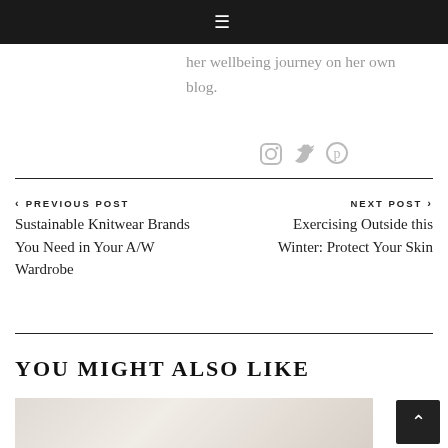≡
her wellbeing journey on her own blog.
[Figure (illustration): Three social media icons: Instagram camera icon, Twitter bird icon, Pinterest P icon, in gray]
< PREVIOUS POST
Sustainable Knitwear Brands You Need in Your A/W Wardrobe
NEXT POST >
Exercising Outside this Winter: Protect Your Skin
YOU MIGHT ALSO LIKE
[Figure (photo): Partial image visible at bottom, appears to be a light-colored interior/lifestyle photo with cushions]